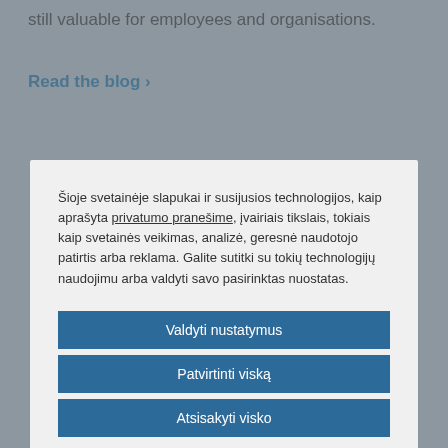still valuable for employees and organisations.
Read the blog ›
Šioje svetainėje slapukai ir susijusios technologijos, kaip aprašyta privatumo pranešime, įvairiais tikslais, tokiais kaip svetainės veikimas, analizė, geresnė naudotojo patirtis arba reklama. Galite sutitki su tokių technologijų naudojimu arba valdyti savo pasirinktas nuostatas.
Valdyti nustatymus
Patvirtinti viską
Atsisakyti visko
Pareiškimas apie slapukus
technical information